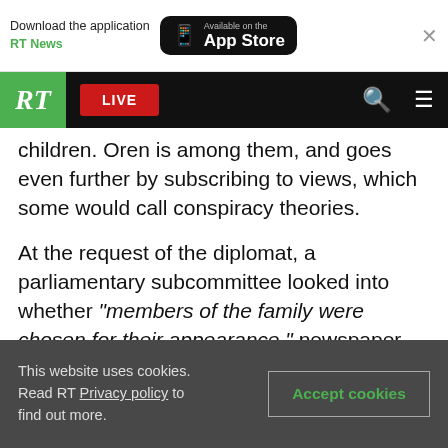Download the application RT News | Available on the App Store | ×
[Figure (screenshot): RT website navigation bar with green RT logo, red LIVE button, search icon, and hamburger menu on black background]
But some people in Israel... children. Oren is among them, and goes even further by subscribing to views, which some would call conspiracy theories.
At the request of the diplomat, a parliamentary subcommittee looked into whether "members of the family were chosen for their appearance," newspaper Haaretz quoted Oren as saying. "Also clothing. A real costume. American dress in every respect, not Palestinian, with backward baseball caps. Even Europeans don't wear backward
This website uses cookies. Read RT Privacy policy to find out more. | Accept cookies